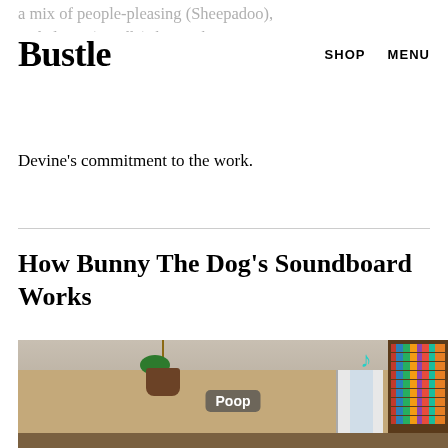Bustle  SHOP  MENU
a mix of people-pleasing (Sheepadoo), and clever (Poodle), he attributes Bunny's success to
Devine's commitment to the work.
How Bunny The Dog's Soundboard Works
[Figure (photo): TikTok video screenshot showing a room interior with a bookshelf, hanging plant, window, and the word 'Poop' displayed in a caption label in the center of the frame.]